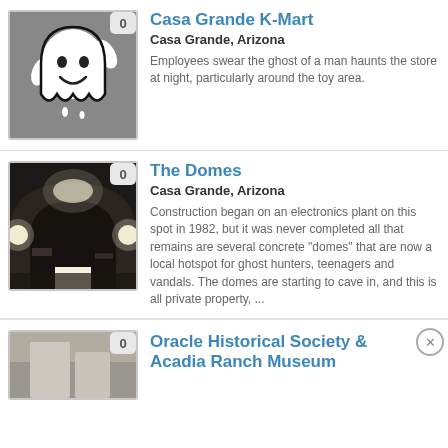[Figure (illustration): Ghost cartoon icon on gray background]
Casa Grande K-Mart
Casa Grande, Arizona
Employees swear the ghost of a man haunts the store at night, particularly around the toy area.
[Figure (photo): Interior of dark dome structure with graffiti and glowing doorway and lights]
The Domes
Casa Grande, Arizona
Construction began on an electronics plant on this spot in 1982, but it was never completed all that remains are several concrete "domes" that are now a local hotspot for ghost hunters, teenagers and vandals. The domes are starting to cave in, and this is all private property, ...
[Figure (photo): Partially visible thumbnail of third listing]
Oracle Historical Society & Acadia Ranch Museum